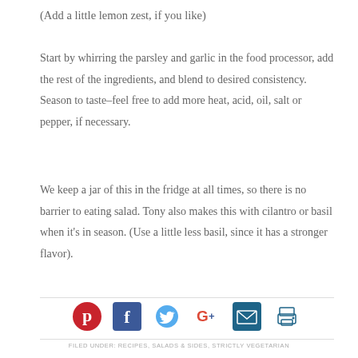(Add a little lemon zest, if you like)
Start by whirring the parsley and garlic in the food processor, add the rest of the ingredients, and blend to desired consistency. Season to taste–feel free to add more heat, acid, oil, salt or pepper, if necessary.
We keep a jar of this in the fridge at all times, so there is no barrier to eating salad. Tony also makes this with cilantro or basil when it's in season. (Use a little less basil, since it has a stronger flavor).
[Figure (infographic): Row of six social media sharing icons: Pinterest (red circle with P), Facebook (dark blue square with f), Twitter (light blue bird), Google+ (red and blue G+), Email (dark teal envelope), Print (dark teal printer)]
FILED UNDER: RECIPES, SALADS & SIDES, STRICTLY VEGETARIAN